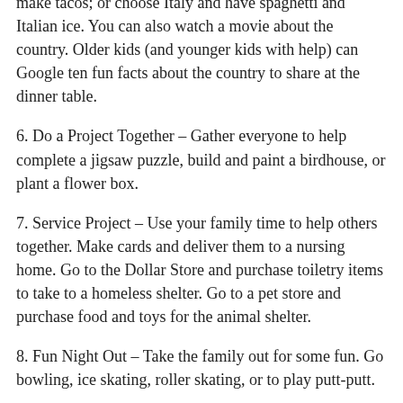make tacos; or choose Italy and have spaghetti and Italian ice. You can also watch a movie about the country. Older kids (and younger kids with help) can Google ten fun facts about the country to share at the dinner table.
6. Do a Project Together – Gather everyone to help complete a jigsaw puzzle, build and paint a birdhouse, or plant a flower box.
7. Service Project – Use your family time to help others together. Make cards and deliver them to a nursing home. Go to the Dollar Store and purchase toiletry items to take to a homeless shelter. Go to a pet store and purchase food and toys for the animal shelter.
8. Fun Night Out – Take the family out for some fun. Go bowling, ice skating, roller skating, or to play putt-putt.
9. Go Camping in the Backyard – Start with a backyard